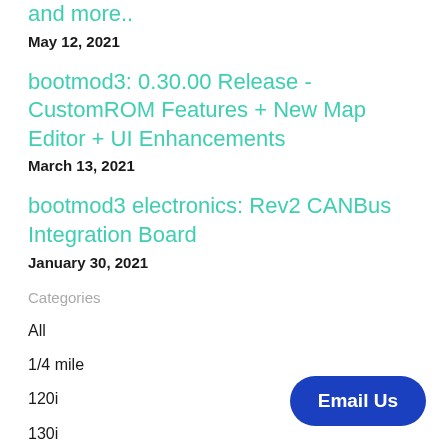and more..
May 12, 2021
bootmod3: 0.30.00 Release - CustomROM Features + New Map Editor + UI Enhancements
March 13, 2021
bootmod3 electronics: Rev2 CANBus Integration Board
January 30, 2021
Categories
All
1/4 mile
120i
130i
135i
140i